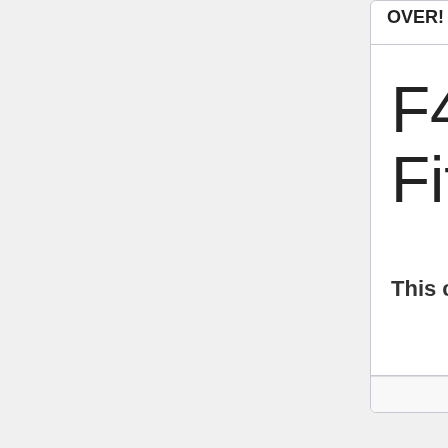OVER!
1 0 2 6
F4 NeoPop Te FitSok 3 pac
This contest is no longer accepti
powered by Rafflecopter